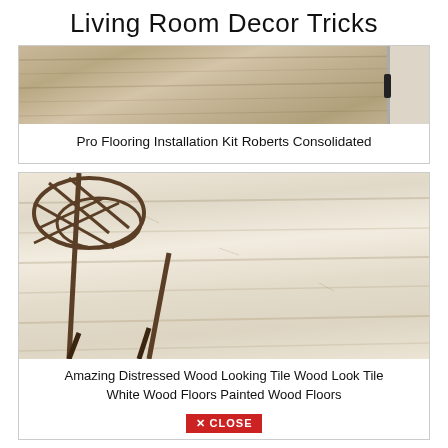Living Room Decor Tricks
[Figure (photo): Close-up of light wood flooring with a white door/cabinet edge visible on the right]
Pro Flooring Installation Kit Roberts Consolidated
[Figure (photo): Close-up of distressed whitewashed wood look tile flooring with an ornate metal chair leg visible in the upper left]
Amazing Distressed Wood Looking Tile Wood Look Tile White Wood Floors Painted Wood Floors
✕ CLOSE